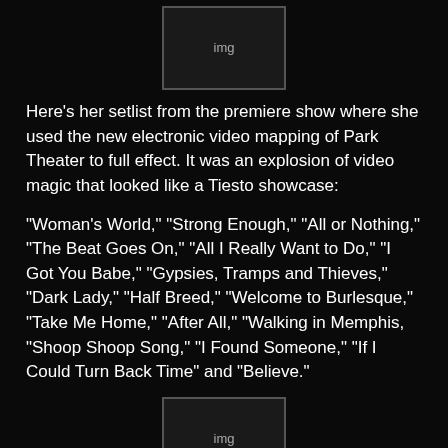[Figure (photo): Image placeholder at top center]
Here's her setlist from the premiere show where she used the new electronic video mapping of Park Theater to full effect. It was an explosion of video magic that looked like a Tiesto showcase:
“Woman’s World,” “Strong Enough,” “All or Nothing,” “The Beat Goes On,” “All I Really Want to Do,” “I Got You Babe,” “Gypsies, Tramps and Thieves,” “Dark Lady,” “Half Breed,” “Welcome to Burlesque,” “Take Me Home,” “After All,” “Walking in Memphis, “Shoop Shoop Song,” “I Found Someone,” “If I Could Turn Back Time” and “Believe.”
[Figure (photo): Image placeholder at middle center]
Go turn back time to the glory days of Cher’s hits in this 90-minute-plus spectacle. It’s a wall-to-wall jukebox of hits and the greatest and most outrageous flamboyant fashions